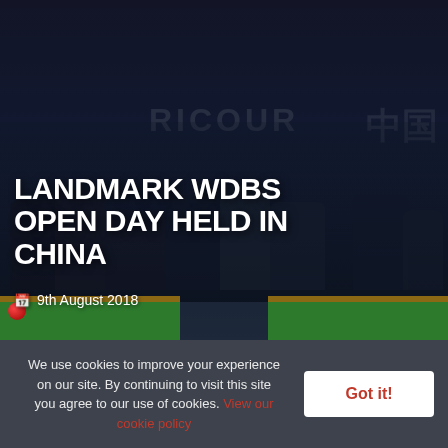[Figure (photo): Group photo of people at a snooker/billiards venue with RICOUR branding and Chinese characters in the background, green snooker tables visible]
LANDMARK WDBS OPEN DAY HELD IN CHINA
9th August 2018
We use cookies to improve your experience on our site. By continuing to visit this site you agree to our use of cookies. View our cookie policy